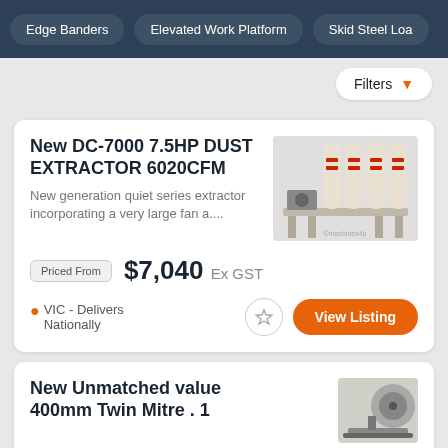Edge Banders | Elevated Work Platform | Skid Steel Loa
Filters
New DC-7000 7.5HP DUST EXTRACTOR 6020CFM
New generation quiet series extractor incorporating a very large fan a....
Priced From $7,040 Ex GST
VIC - Delivers Nationally
View Listing
New Unmatched value 400mm Twin Mitre . 1